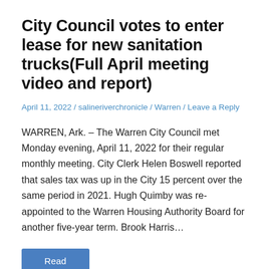City Council votes to enter lease for new sanitation trucks(Full April meeting video and report)
April 11, 2022 / salineriverchronicle / Warren / Leave a Reply
WARREN, Ark. – The Warren City Council met Monday evening, April 11, 2022 for their regular monthly meeting. City Clerk Helen Boswell reported that sales tax was up in the City 15 percent over the same period in 2021. Hugh Quimby was re-appointed to the Warren Housing Authority Board for another five-year term. Brook Harris…
Read